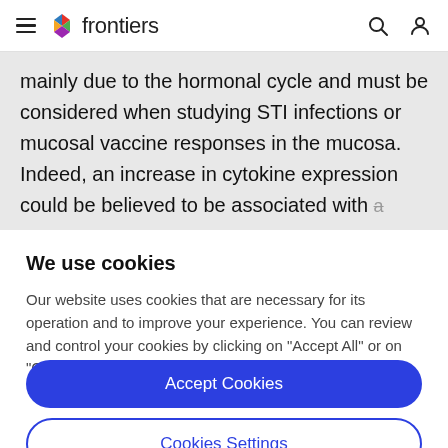frontiers
mainly due to the hormonal cycle and must be considered when studying STI infections or mucosal vaccine responses in the mucosa. Indeed, an increase in cytokine expression could be believed to be associated with a vaccine response or immune response against a
We use cookies
Our website uses cookies that are necessary for its operation and to improve your experience. You can review and control your cookies by clicking on "Accept All" or on "Cookies Settings".
Accept Cookies
Cookies Settings